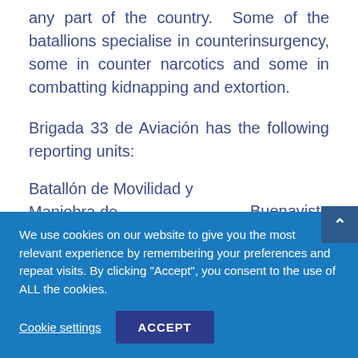any part of the country. Some of the batallions specialise in counterinsurgency, some in counter narcotics and some in combatting kidnapping and extortion.
Brigada 33 de Aviación has the following reporting units:
Batallón de Movilidad y Maniobra de Aviación No.1    Buenavista
We use cookies on our website to give you the most relevant experience by remembering your preferences and repeat visits. By clicking "Accept", you consent to the use of ALL the cookies.
Cookie settings
ACCEPT